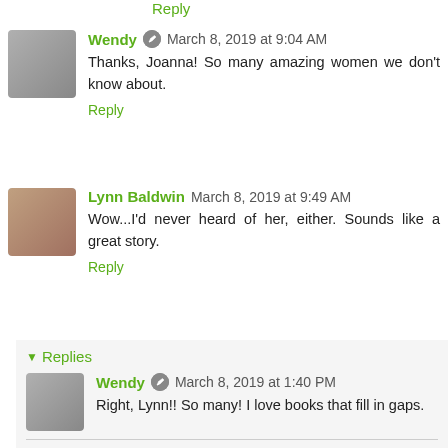Reply
Wendy · March 8, 2019 at 9:04 AM
Thanks, Joanna! So many amazing women we don't know about.
Reply
Lynn Baldwin  March 8, 2019 at 9:49 AM
Wow...I'd never heard of her, either. Sounds like a great story.
Reply
Replies
Wendy · March 8, 2019 at 1:40 PM
Right, Lynn!! So many! I love books that fill in gaps.
Reply